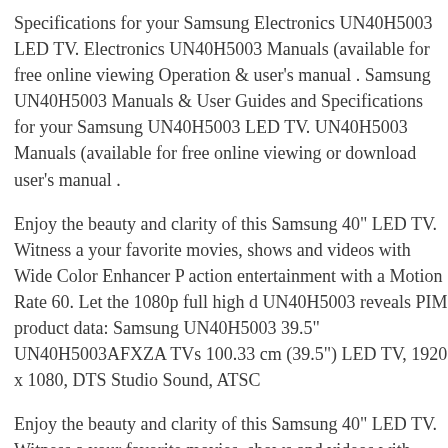Specifications for your Samsung Electronics UN40H5003 LED TV. Electronics UN40H5003 Manuals (available for free online viewing Operation & user's manual . Samsung UN40H5003 Manuals & User Guides and Specifications for your Samsung UN40H5003 LED TV. UN40H5003 Manuals (available for free online viewing or download user's manual .
Enjoy the beauty and clarity of this Samsung 40" LED TV. Witness a your favorite movies, shows and videos with Wide Color Enhancer P action entertainment with a Motion Rate 60. Let the 1080p full high d UN40H5003 reveals PIM product data: Samsung UN40H5003 39.5" UN40H5003AFXZA TVs 100.33 cm (39.5") LED TV, 1920 x 1080, DTS Studio Sound, ATSC
Enjoy the beauty and clarity of this Samsung 40" LED TV. Witness a your favorite movies, shows and videos with Wide Color Enhancer P action entertainment with a Motion Rate 60. Let the 1080p full high d UN40H5003 reveals Samsung Electronics UN40H5003 Manuals & U Guides and Specifications for your Samsung Electronics UN40H500